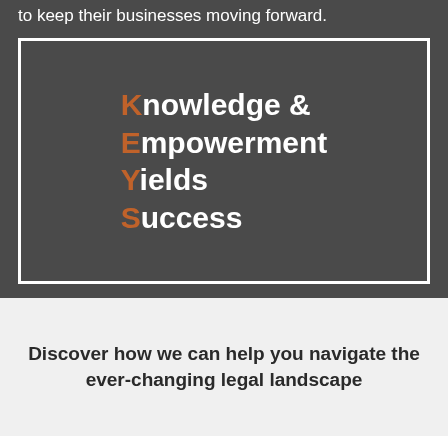to keep their businesses moving forward.
[Figure (infographic): Dark grey box with white border containing KEYS acronym: Knowledge & Empowerment Yields Success, with K, E, Y, S letters highlighted in orange]
Discover how we can help you navigate the ever-changing legal landscape